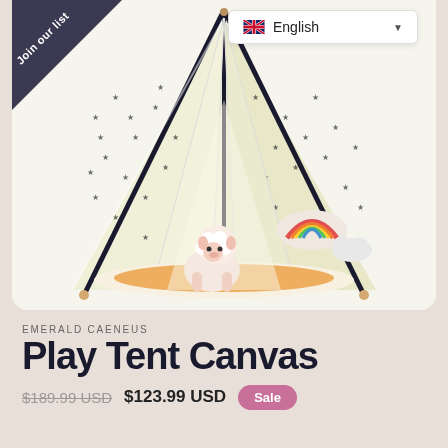[Figure (photo): A children's play tent (teepee style) with star-patterned cream/yellow canvas, black pole accents, containing a stuffed lamb toy, rainbow pillow, and fox play mat inside. A language selector dropdown (English) is visible in the top right corner.]
Join our list
English
EMERALD CAENEUS
Play Tent Canvas
$189.99 USD  $123.99 USD  Sale